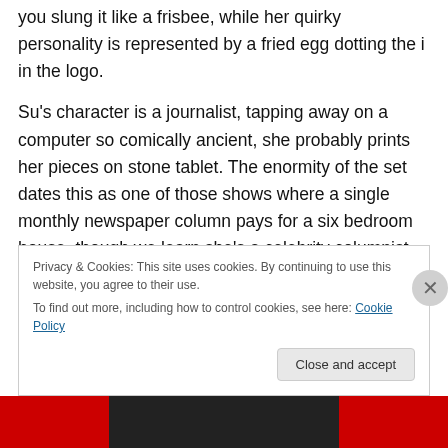you slung it like a frisbee, while her quirky personality is represented by a fried egg dotting the i in the logo.
Su's character is a journalist, tapping away on a computer so comically ancient, she probably prints her pieces on stone tablet. The enormity of the set dates this as one of those shows where a single monthly newspaper column pays for a six bedroom house, though we learn she's a celebrity columnist, akin to an Eve Pollard/Carole Malone type, seen on the cover of the TV Times and fresh off an appearance on Wogan. The plot kicks off with a furious
Privacy & Cookies: This site uses cookies. By continuing to use this website, you agree to their use.
To find out more, including how to control cookies, see here: Cookie Policy